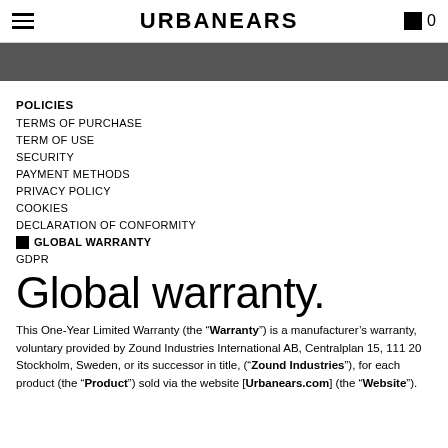URBANEARS 0
POLICIES
TERMS OF PURCHASE
TERM OF USE
SECURITY
PAYMENT METHODS
PRIVACY POLICY
COOKIES
DECLARATION OF CONFORMITY
GLOBAL WARRANTY
GDPR
Global warranty.
This One-Year Limited Warranty (the “Warranty”) is a manufacturer’s warranty, voluntary provided by Zound Industries International AB, Centralplan 15, 111 20 Stockholm, Sweden, or its successor in title, (“Zound Industries”), for each product (the “Product”) sold via the website [Urbanears.com] (the “Website”).